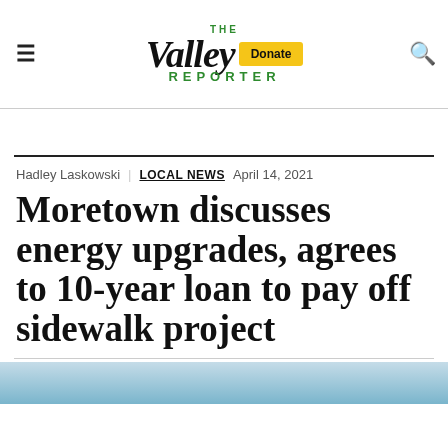The Valley Reporter — Donate — [Search]
Hadley Laskowski  LOCAL NEWS  April 14, 2021
Moretown discusses energy upgrades, agrees to 10-year loan to pay off sidewalk project
[Figure (photo): Partial photo visible at bottom of page, appears to show an outdoor scene with blue sky.]